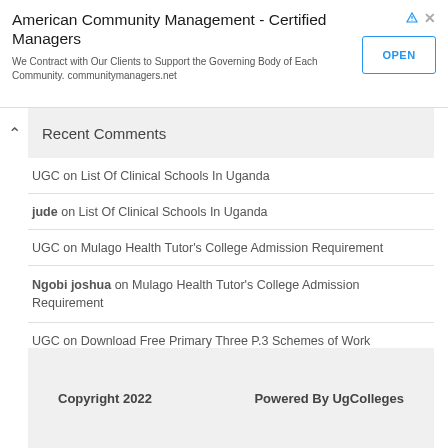[Figure (other): Advertisement banner for American Community Management - Certified Managers with an OPEN button]
Recent Comments
UGC on List Of Clinical Schools In Uganda
jude on List Of Clinical Schools In Uganda
UGC on Mulago Health Tutor's College Admission Requirement
Ngobi joshua on Mulago Health Tutor's College Admission Requirement
UGC on Download Free Primary Three P.3 Schemes of Work
Copyright 2022    Powered By UgColleges